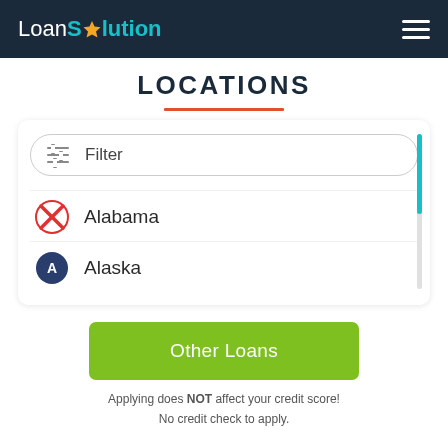[Figure (logo): LoanSolution logo in white and teal on dark navy header, with hamburger menu icon on right]
LOCATIONS
[Figure (screenshot): Filter button with horizontal sliders icon and text 'Filter' inside a rounded pill border, followed by a list showing Alabama with red X icon and Alaska partially visible, with teal scrollbar on the right]
[Figure (other): Green 'Other Loans' button]
Applying does NOT affect your credit score!
No credit check to apply.